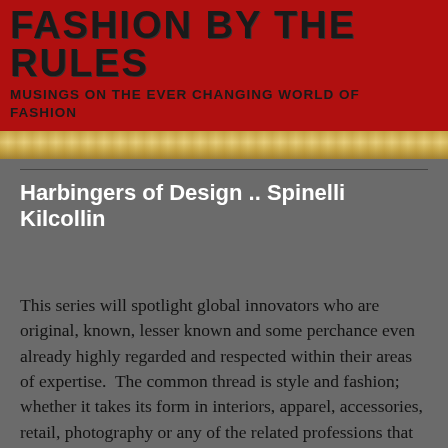FASHION BY THE RULES
MUSINGS ON THE EVER CHANGING WORLD OF FASHION
Harbingers of Design .. Spinelli Kilcollin
This series will spotlight global innovators who are original, known, lesser known and some perchance even already highly regarded and respected within their areas of expertise.  The common thread is style and fashion; whether it takes its form in interiors, apparel, accessories, retail, photography or any of the related professions that surround fashion and style.  Please note that some of my “cast members” have chosen to follow a path than includes utilizing the “tools” of the past thereby rendering a new and modern vision for today’s